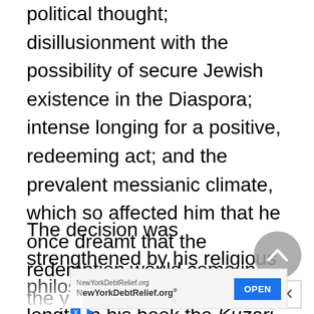political thought; disillusionment with the possibility of secure Jewish existence in the Diaspora; intense longing for a positive, redeeming act; and the prevalent messianic climate, which so affected him that he once dreamt that the redemption would come in the year 4890 (1130 c.e.).
The decision was strengthened by his religious philosophy, developed at length in his book the Kuzari and in many...